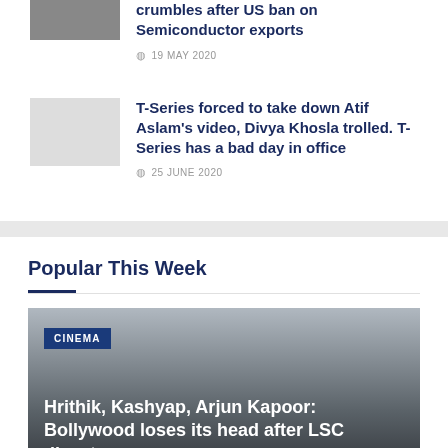crumbles after US ban on Semiconductor exports
19 MAY 2020
T-Series forced to take down Atif Aslam's video, Divya Khosla trolled. T-Series has a bad day in office
25 JUNE 2020
Popular This Week
CINEMA
Hrithik, Kashyap, Arjun Kapoor: Bollywood loses its head after LSC disaster